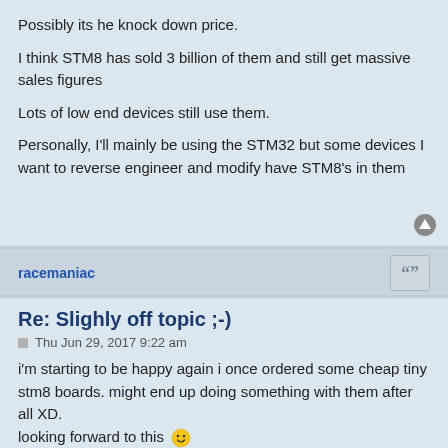Possibly its he knock down price.

I think STM8 has sold 3 billion of them and still get massive sales figures

Lots of low end devices still use them.

Personally, I'll mainly be using the STM32 but some devices I want to reverse engineer and modify have STM8's in them
racemaniac
Re: Slighly off topic ;-)
Thu Jun 29, 2017 9:22 am
i'm starting to be happy again i once ordered some cheap tiny stm8 boards. might end up doing something with them after all XD. looking forward to this 😀
dannyf